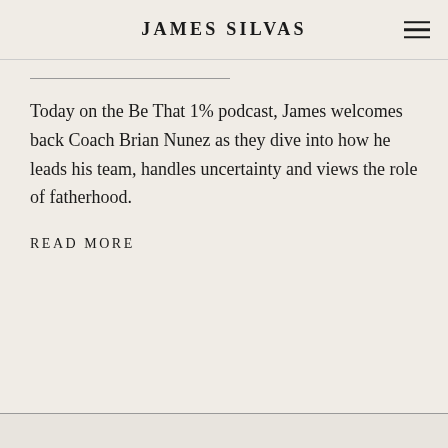JAMES SILVAS
Today on the Be That 1% podcast, James welcomes back Coach Brian Nunez as they dive into how he leads his team, handles uncertainty and views the role of fatherhood.
READ MORE